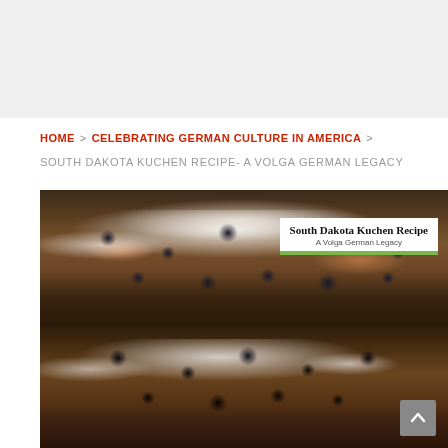HOME > CELEBRATING GERMAN CULTURE IN AMERICA >
SOUTH DAKOTA KUCHEN RECIPE- A VOLGA GERMAN LEGACY
[Figure (photo): Photo of a South Dakota Kuchen (German cake) in a pie/tart dish, showing dark berries (blueberries) with white crumble/streusel topping and powdered sugar. Overlaid text box reads 'South Dakota Kuchen Recipe / A Volga German Legacy'. The image appears twice (top and bottom halves), separated by a translucent gray band. A scroll-to-top button appears at bottom right.]